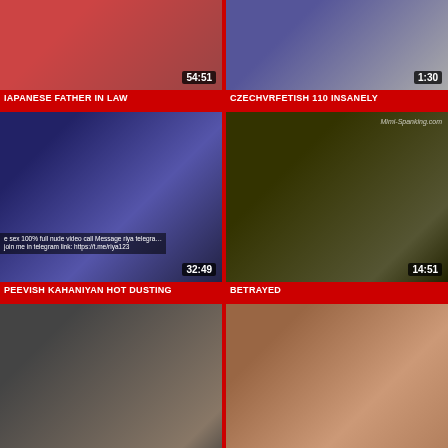[Figure (screenshot): Video thumbnail top-left with duration 54:51]
JAPANESE FATHER IN LAW
[Figure (screenshot): Video thumbnail top-right with duration 1:30]
CZECHVRFETISH 110 INSANELY
[Figure (screenshot): Video thumbnail middle-left with duration 32:49, overlay text about telegram]
PEEVISH KAHANIYAN HOT DUSTING
[Figure (screenshot): Video thumbnail middle-right with duration 14:51, watermark Mimi-Spanking.com]
BETRAYED
[Figure (screenshot): Video thumbnail bottom-left with duration 8:00]
KENDRA SPADE IN LITTLE MISS
[Figure (screenshot): Video thumbnail bottom-right with play button, partial duration visible]
EBOD-216 ARISA AIZAWA IAV HOT